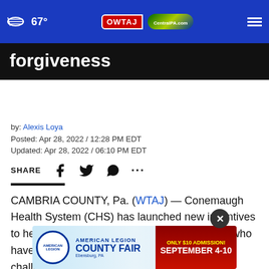67° | WTAJ | CentralPA.com
forgiveness
by: Alexis Loya
Posted: Apr 28, 2022 / 12:28 PM EDT
Updated: Apr 28, 2022 / 06:10 PM EDT
SHARE [icons: Facebook, Twitter, WhatsApp, more]
CAMBRIA COUNTY, Pa. (WTAJ) — Conemaugh Health System (CHS) has launched new incentives to help put a nursing career in reach for those who have dreamed of being a nurse but may face challenges
The new program offers fall 2022 RN student recruits
[Figure (photo): American Legion County Fair advertisement banner - Only $10 Admission! September 4-10, Ebensburg PA]